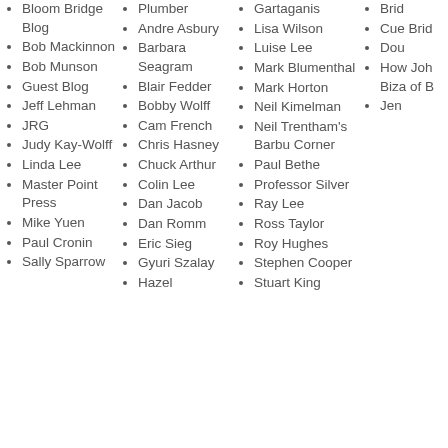Bloom Bridge Blog
Bob Mackinnon
Bob Munson
Guest Blog
Jeff Lehman
JRG
Judy Kay-Wolff
Linda Lee
Master Point Press
Mike Yuen
Paul Cronin
Sally Sparrow
Plumber
Andre Asbury
Barbara Seagram
Blair Fedder
Bobby Wolff
Cam French
Chris Hasney
Chuck Arthur
Colin Lee
Dan Jacob
Dan Romm
Eric Sieg
Gyuri Szalay
Hazel
Gartaganis
Lisa Wilson
Luise Lee
Mark Blumenthal
Mark Horton
Neil Kimelman
Neil Trentham's Barbu Corner
Paul Bethe
Professor Silver
Ray Lee
Ross Taylor
Roy Hughes
Stephen Cooper
Stuart King
Brid
Cue Brid
Dou
How Joh Biza of B
Jen